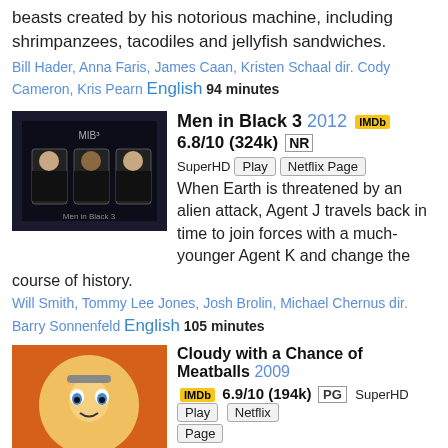beasts created by his notorious machine, including shrimpanzees, tacodiles and jellyfish sandwiches.
Bill Hader, Anna Faris, James Caan, Kristen Schaal dir. Cody Cameron, Kris Pearn English 94 minutes
Men in Black 3 2012 IMDb 6.8/10 (324k) NR SuperHD Play Netflix Page When Earth is threatened by an alien attack, Agent J travels back in time to join forces with a much-younger Agent K and change the course of history.
Will Smith, Tommy Lee Jones, Josh Brolin, Michael Chernus dir. Barry Sonnenfeld English 105 minutes
Cloudy with a Chance of Meatballs 2009 IMDb 6.9/10 (194k) PG SuperHD Play Netflix Page When inventor Flint Lockwood makes clouds rain food, the citizens of Chewandswallow can feed themselves. But a bowl of disaster is about to overflow.
Bill Hader, Neil Patrick Harris, Al Roker, Bruce Campbell dir. Phil Lord, Christopher Miller English 89 minutes